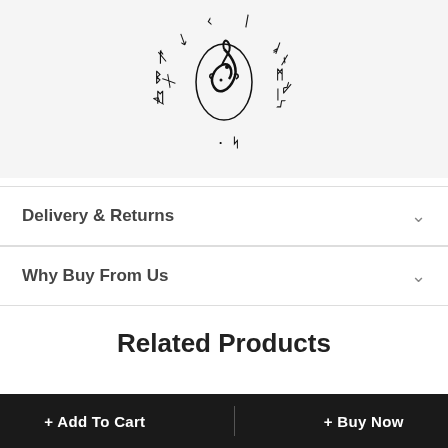[Figure (illustration): Circular Norse/runic design with runes arranged in a circle and a serpent/dragon illustration in the center, black on light background.]
Delivery & Returns
Why Buy From Us
Related Products
+ Add To Cart
+ Buy Now